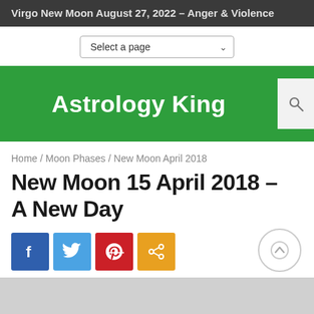Virgo New Moon August 27, 2022 – Anger & Violence
[Figure (screenshot): Select a page dropdown menu]
Astrology King
Home / Moon Phases / New Moon April 2018
New Moon 15 April 2018 – A New Day
[Figure (infographic): Social share buttons: Facebook, Twitter, Pinterest, Share; plus an up-arrow circle button]
[Figure (photo): Partial image strip at bottom, light gray]